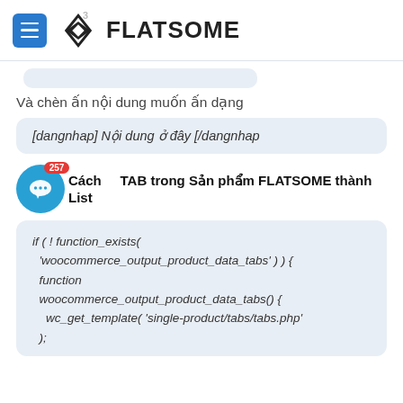[Figure (screenshot): Flatsome theme logo with hamburger menu button and diamond-F logo icon with superscript 3]
Và chèn ấn nội dung muốn ấn dạng
[dangnhap] Nội dung ở đây [/dangnhap
Cách [TAB trong Sản phẩm FLATSOME thành List
if ( ! function_exists( 'woocommerce_output_product_data_tabs' ) ) { function woocommerce_output_product_data_tabs() { wc_get_template( 'single-product/tabs/tabs.php' );